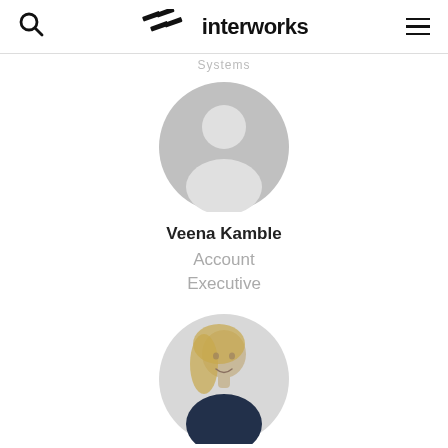interworks
Systems
[Figure (illustration): Circular grey placeholder avatar silhouette for Veena Kamble]
Veena Kamble
Account Executive
[Figure (photo): Circular profile photo of a blonde woman smiling, wearing a dark top]